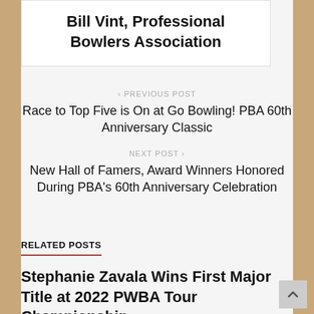Bill Vint, Professional Bowlers Association
‹ PREVIOUS POST
Race to Top Five is On at Go Bowling! PBA 60th Anniversary Classic
NEXT POST ›
New Hall of Famers, Award Winners Honored During PBA's 60th Anniversary Celebration
RELATED POSTS
Stephanie Zavala Wins First Major Title at 2022 PWBA Tour Championship